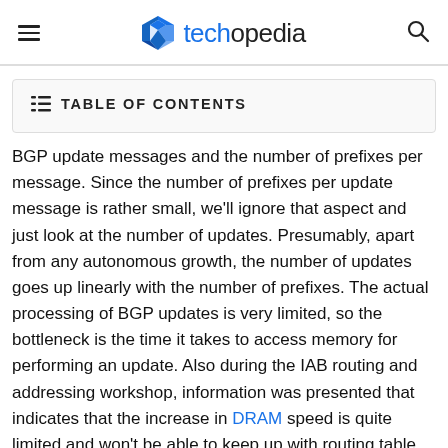techopedia
TABLE OF CONTENTS
BGP update messages and the number of prefixes per message. Since the number of prefixes per update message is rather small, we'll ignore that aspect and just look at the number of updates. Presumably, apart from any autonomous growth, the number of updates goes up linearly with the number of prefixes. The actual processing of BGP updates is very limited, so the bottleneck is the time it takes to access memory for performing an update. Also during the IAB routing and addressing workshop, information was presented that indicates that the increase in DRAM speed is quite limited and won't be able to keep up with routing table growth.